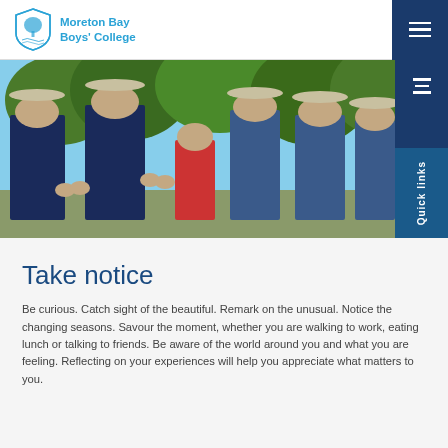Moreton Bay Boys' College
[Figure (photo): Group of school boys in blue uniforms and wide-brimmed hats clapping outdoors with trees in background, along with a woman in red and other students]
Take notice
Be curious. Catch sight of the beautiful. Remark on the unusual. Notice the changing seasons. Savour the moment, whether you are walking to work, eating lunch or talking to friends. Be aware of the world around you and what you are feeling. Reflecting on your experiences will help you appreciate what matters to you.